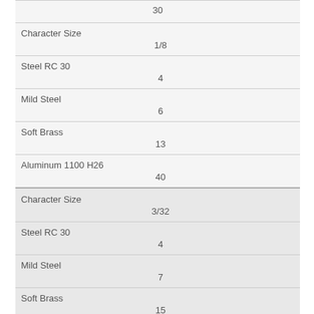| Material / Property | Value |
| --- | --- |
|  | 30 |
| Character Size | 1/8 |
| Steel RC 30 | 4 |
| Mild Steel | 6 |
| Soft Brass | 13 |
| Aluminum 1100 H26 | 40 |
| Character Size | 3/32 |
| Steel RC 30 | 4 |
| Mild Steel | 7 |
| Soft Brass | 15 |
| Aluminum 1100 H26 | 50 |